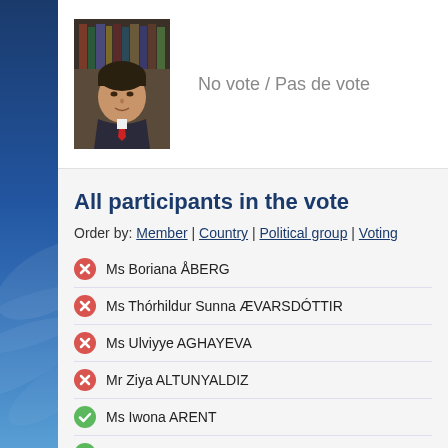[Figure (photo): Headshot portrait of a man in a suit with a red tie, in front of a bookshelf]
No vote / Pas de vote
All participants in the vote
Order by: Member | Country | Political group | Voting
Ms Boriana ÅBERG — No vote (red X icon)
Ms Thórhildur Sunna ÆVARSDÓTTIR — No vote (red X icon)
Ms Ulviyye AGHAYEVA — No vote (red X icon)
Mr Ziya ALTUNYALDIZ — No vote (red X icon)
Ms Iwona ARENT — Yes vote (green check icon)
Mr Volodymyr ARIEV — Yes vote (green check icon)
Mr Radovan BALÁŽ — No vote (red X icon)
Lord Richard BALFE — No vote (red X icon)